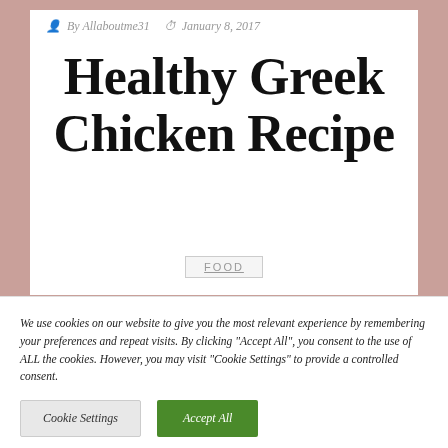By Allaboutme31   January 8, 2017
Healthy Greek Chicken Recipe
FOOD
We use cookies on our website to give you the most relevant experience by remembering your preferences and repeat visits. By clicking "Accept All", you consent to the use of ALL the cookies. However, you may visit "Cookie Settings" to provide a controlled consent.
Cookie Settings   Accept All